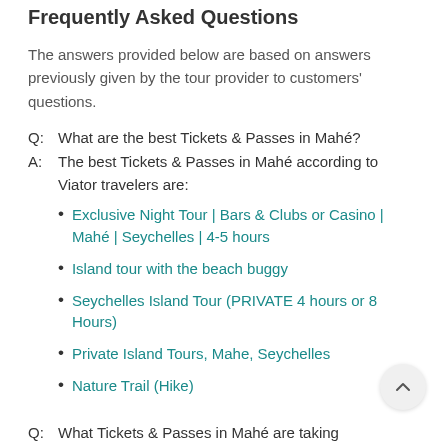Frequently Asked Questions
The answers provided below are based on answers previously given by the tour provider to customers' questions.
Q:  What are the best Tickets & Passes in Mahé?
A:  The best Tickets & Passes in Mahé according to Viator travelers are:
Exclusive Night Tour | Bars & Clubs or Casino | Mahé | Seychelles | 4-5 hours
Island tour with the beach buggy
Seychelles Island Tour (PRIVATE 4 hours or 8 Hours)
Private Island Tours, Mahe, Seychelles
Nature Trail (Hike)
Q:  What Tickets & Passes in Mahé are taking